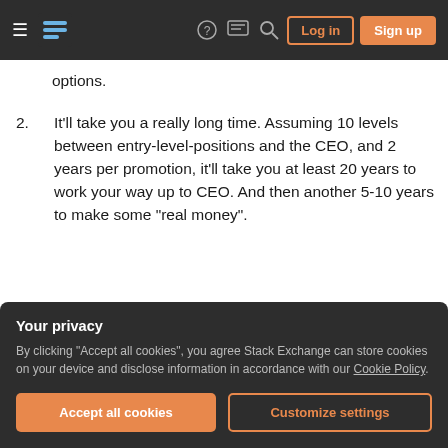Stack Exchange navigation bar with hamburger menu, logo, help, chat, search icons, Log in and Sign up buttons
options.
2. It'll take you a really long time. Assuming 10 levels between entry-level-positions and the CEO, and 2 years per promotion, it'll take you at least 20 years to work your way up to CEO. And then another 5-10 years to make some "real money".
Overall, if the objective is to make the most amount of money with the least amount of risk, option A is
Your privacy
By clicking "Accept all cookies", you agree Stack Exchange can store cookies on your device and disclose information in accordance with our Cookie Policy.